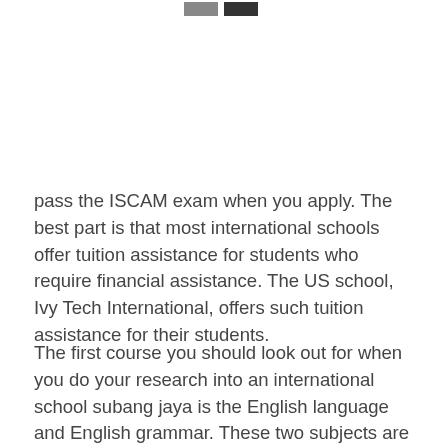[Figure (other): Two small square color swatches at the top center of the page, one medium gray and one dark gray/black.]
pass the ISCAM exam when you apply. The best part is that most international schools offer tuition assistance for students who require financial assistance. The US school, Ivy Tech International, offers such tuition assistance for their students.
The first course you should look out for when you do your research into an international school subang jaya is the English language and English grammar. These two subjects are mandatory subjects for all students to